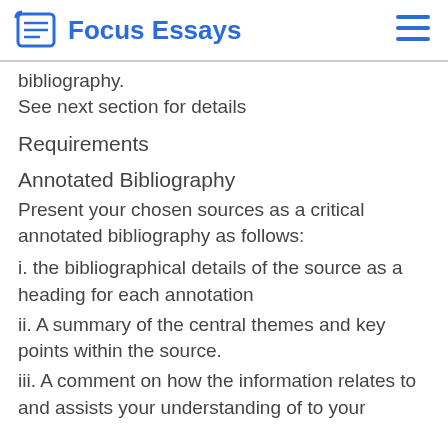Focus Essays
bibliography.
See next section for details
Requirements
Annotated Bibliography
Present your chosen sources as a critical annotated bibliography as follows:
i. the bibliographical details of the source as a heading for each annotation
ii. A summary of the central themes and key points within the source.
iii. A comment on how the information relates to and assists your understanding of to your